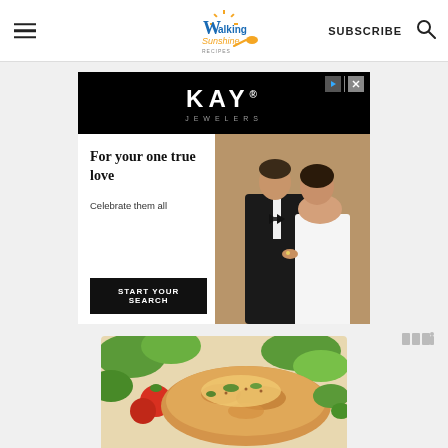Walking Sunshine Recipes — SUBSCRIBE
[Figure (photo): Kay Jewelers advertisement with logo on black background and couple photo. Text: 'For your one true love', 'Celebrate them all', 'START YOUR SEARCH']
[Figure (photo): Food photo showing baked/grilled chicken or fish with tomatoes and green herbs/vegetables, partially cropped at bottom of page]